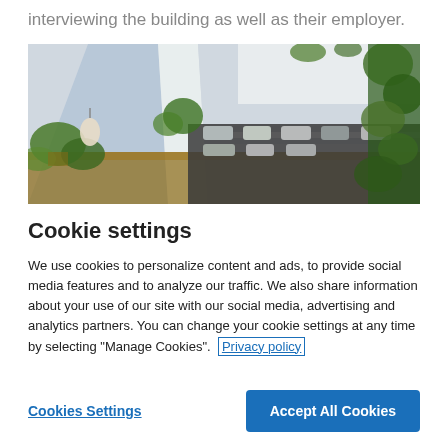interviewing the building as well as their employer.
[Figure (photo): Interior photo of a modern office space with plants, wooden floors, stepped seating/lounge area with cushions, and large white structural elements. Lush greenery visible throughout.]
Cookie settings
We use cookies to personalize content and ads, to provide social media features and to analyze our traffic. We also share information about your use of our site with our social media, advertising and analytics partners. You can change your cookie settings at any time by selecting "Manage Cookies".  Privacy policy
Cookies Settings
Accept All Cookies